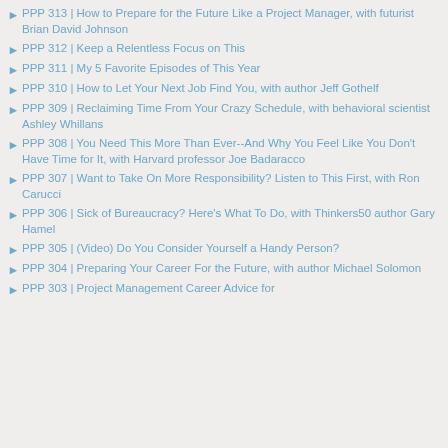PPP 313 | How to Prepare for the Future Like a Project Manager, with futurist Brian David Johnson
PPP 312 | Keep a Relentless Focus on This
PPP 311 | My 5 Favorite Episodes of This Year
PPP 310 | How to Let Your Next Job Find You, with author Jeff Gothelf
PPP 309 | Reclaiming Time From Your Crazy Schedule, with behavioral scientist Ashley Whillans
PPP 308 | You Need This More Than Ever--And Why You Feel Like You Don't Have Time for It, with Harvard professor Joe Badaracco
PPP 307 | Want to Take On More Responsibility? Listen to This First, with Ron Carucci
PPP 306 | Sick of Bureaucracy? Here's What To Do, with Thinkers50 author Gary Hamel
PPP 305 | (Video) Do You Consider Yourself a Handy Person?
PPP 304 | Preparing Your Career For the Future, with author Michael Solomon
PPP 303 | Project Management Career Advice for